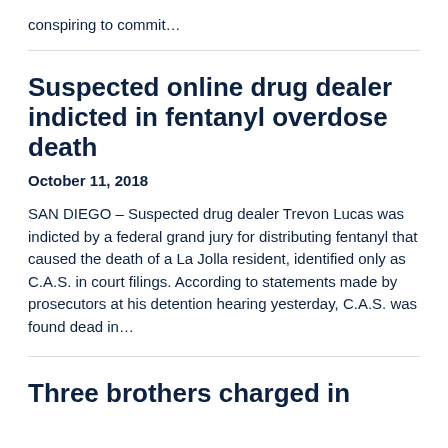conspiring to commit…
Suspected online drug dealer indicted in fentanyl overdose death
October 11, 2018
SAN DIEGO – Suspected drug dealer Trevon Lucas was indicted by a federal grand jury for distributing fentanyl that caused the death of a La Jolla resident, identified only as C.A.S. in court filings. According to statements made by prosecutors at his detention hearing yesterday, C.A.S. was found dead in…
Three brothers charged in